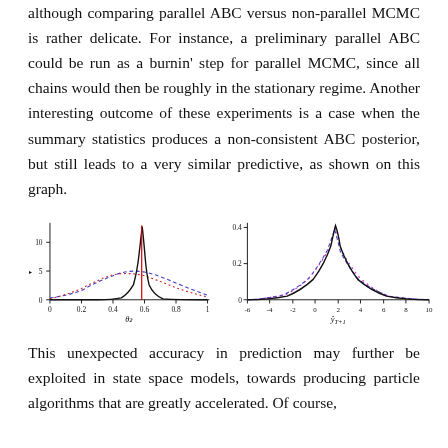although comparing parallel ABC versus non-parallel MCMC is rather delicate. For instance, a preliminary parallel ABC could be run as a burnin' step for parallel MCMC, since all chains would then be roughly in the stationary regime. Another interesting outcome of these experiments is a case when the summary statistics produces a non-consistent ABC posterior, but still leads to a very similar predictive, as shown on this graph.
[Figure (continuous-plot): Two side-by-side density plots. Left plot shows ABC posterior distributions for parameter theta_2 with x-axis from 0 to 1, y-axis from 0 to about 10. Contains a sharp black solid curve peaking near 0.57, a red solid vertical line near 0.57, a blue dashed curve broadly distributed, and a red dashed curve broadly distributed. Right plot shows predictive distributions for y_{T+1} with x-axis from -6 to 10, y-axis from 0 to 0.4. Contains overlapping curves in black solid, blue dashed, and red/magenta dashed, all roughly bell-shaped centered near 1-2.]
This unexpected accuracy in prediction may further be exploited in state space models, towards producing particle algorithms that are greatly accelerated. Of course,